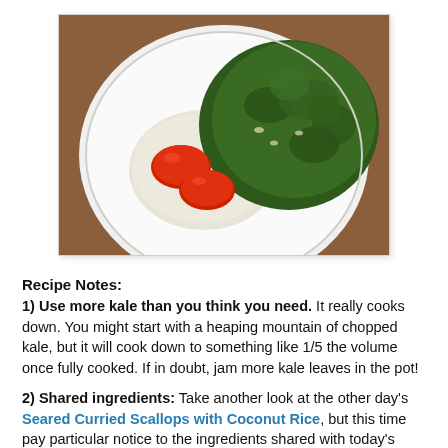[Figure (photo): A white plate with rice, sauteed kale, and two cherry tomatoes on a wooden surface]
Recipe Notes:
1) Use more kale than you think you need. It really cooks down. You might start with a heaping mountain of chopped kale, but it will cook down to something like 1/5 the volume once fully cooked. If in doubt, jam more kale leaves in the pot!
2) Shared ingredients: Take another look at the other day's Seared Curried Scallops with Coconut Rice, but this time pay particular notice to the ingredients shared with today's recipe. Surprise! You've stumbled onto a great time, and